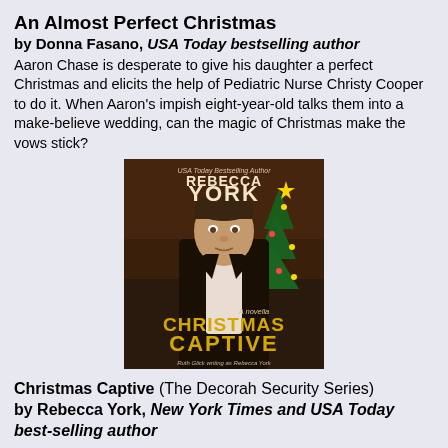An Almost Perfect Christmas
by Donna Fasano, USA Today bestselling author
Aaron Chase is desperate to give his daughter a perfect Christmas and elicits the help of Pediatric Nurse Christy Cooper to do it. When Aaron's impish eight-year-old talks them into a make-believe wedding, can the magic of Christmas make the vows stick?
[Figure (photo): Book cover for 'Christmas Captive' by Rebecca York (Ruth Glick writing as Rebecca York). Shows a man in dark jacket with Christmas tree in background. Text reads 'USA Today Bestselling Author REBECCA YORK A novella CHRISTMAS CAPTIVE Ruth Glick writing as Rebecca York'.]
Christmas Captive (The Decorah Security Series)
by Rebecca York, New York Times and USA Today best-selling author